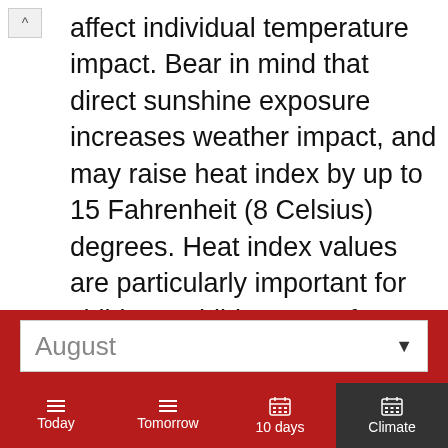affect individual temperature impact. Bear in mind that direct sunshine exposure increases weather impact, and may raise heat index by up to 15 Fahrenheit (8 Celsius) degrees. Heat index values are particularly important for children. Children are often less aware of the need to rest and re-hydrate. Thirst is a late sign of dehydration - it is vital to remain hydrated, particularly during prolonged physical activities.
The human body normally cools itself by